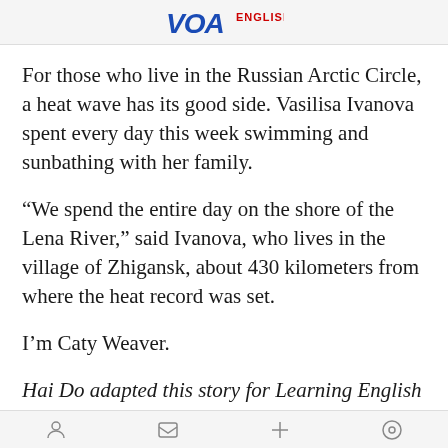VOA ENGLISH
For those who live in the Russian Arctic Circle, a heat wave has its good side. Vasilisa Ivanova spent every day this week swimming and sunbathing with her family.
“We spend the entire day on the shore of the Lena River,” said Ivanova, who lives in the village of Zhigansk, about 430 kilometers from where the heat record was set.
I’m Caty Weaver.
Hai Do adapted this story for Learning English based on Associated Press news reports. Caty Weaver was the editor.